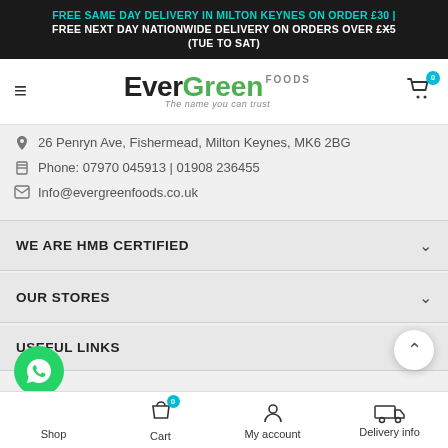FREE SAME DAY DELIVERY IN MILTON KEYNES ON ORDER £30 | FREE NEXT DAY NATIONWIDE DELIVERY ON ORDERS OVER £X5 (TUE TO SAT)
[Figure (logo): EverGreen Foods logo with tagline 'The name you can trust']
26 Penryn Ave, Fishermead, Milton Keynes, MK6 2BG
Phone: 07970 045913 | 01908 236455
Info@evergreenfoods.co.uk
WE ARE HMB CERTIFIED
OUR STORES
USEFUL LINKS
Shop | Cart 0 | My account | Delivery info